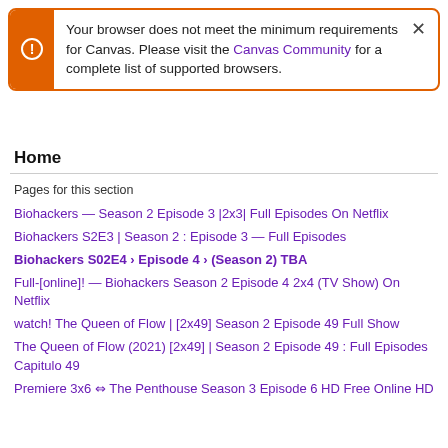Your browser does not meet the minimum requirements for Canvas. Please visit the Canvas Community for a complete list of supported browsers.
Home
Pages for this section
Biohackers — Season 2 Episode 3 |2x3| Full Episodes On Netflix
Biohackers S2E3 | Season 2 : Episode 3 — Full Episodes
Biohackers S02E4 › Episode 4 › (Season 2) TBA
Full-[online]! — Biohackers Season 2 Episode 4 2x4 (TV Show) On Netflix
watch! The Queen of Flow | [2x49] Season 2 Episode 49 Full Show
The Queen of Flow (2021) [2x49] | Season 2 Episode 49 : Full Episodes Capitulo 49
Premiere 3x6 ⇔ The Penthouse Season 3 Episode 6 HD Free Online HD